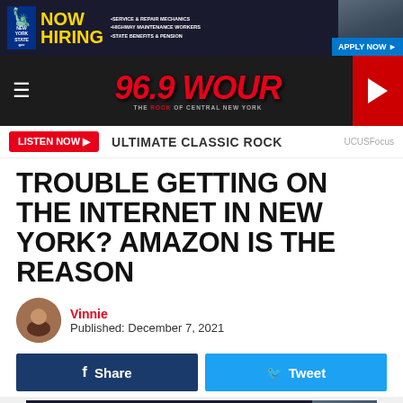[Figure (screenshot): New York State Now Hiring advertisement banner with yellow NOW HIRING text on dark background, bullet points for service & repair mechanics, highway maintenance workers, state benefits & pension, Apply Now button]
[Figure (screenshot): 96.9 WOUR radio station navigation bar with hamburger menu, red italic logo, and red play button]
[Figure (screenshot): Listen Now button bar with red button, ULTIMATE CLASSIC ROCK text, and UCUSFocus watermark]
TROUBLE GETTING ON THE INTERNET IN NEW YORK? AMAZON IS THE REASON
Vinnie
Published: December 7, 2021
[Figure (screenshot): Share and Tweet social media buttons]
[Figure (screenshot): New York State Now Hiring advertisement banner at bottom]